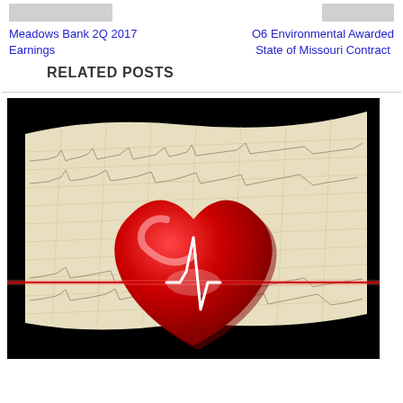[Figure (photo): Thumbnail image placeholder (gray) on the top left]
Meadows Bank 2Q 2017 Earnings
[Figure (photo): Thumbnail image placeholder (gray) on the top right]
O6 Environmental Awarded State of Missouri Contract
RELATED POSTS
[Figure (photo): A glossy red heart with an ECG/heartbeat line overlaid on an EKG paper chart background, on a black background]